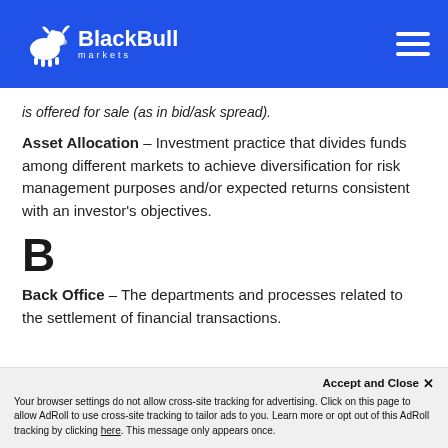BlackBull Markets
is offered for sale (as in bid/ask spread).
Asset Allocation – Investment practice that divides funds among different markets to achieve diversification for risk management purposes and/or expected returns consistent with an investor's objectives.
B
Back Office – The departments and processes related to the settlement of financial transactions.
Accept and Close ✕
Your browser settings do not allow cross-site tracking for advertising. Click on this page to allow AdRoll to use cross-site tracking to tailor ads to you. Learn more or opt out of this AdRoll tracking by clicking here. This message only appears once.